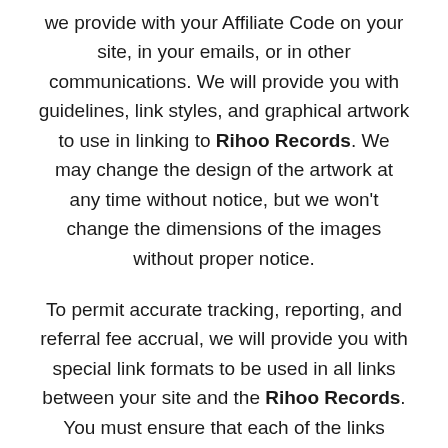we provide with your Affiliate Code on your site, in your emails, or in other communications. We will provide you with guidelines, link styles, and graphical artwork to use in linking to Rihoo Records. We may change the design of the artwork at any time without notice, but we won't change the dimensions of the images without proper notice.
To permit accurate tracking, reporting, and referral fee accrual, we will provide you with special link formats to be used in all links between your site and the Rihoo Records. You must ensure that each of the links between your site and the Rihoo Records properly utilizes such special link formats. Links to the Rihoo Records placed on your site pursuant to this Agreement and which properly utilize such